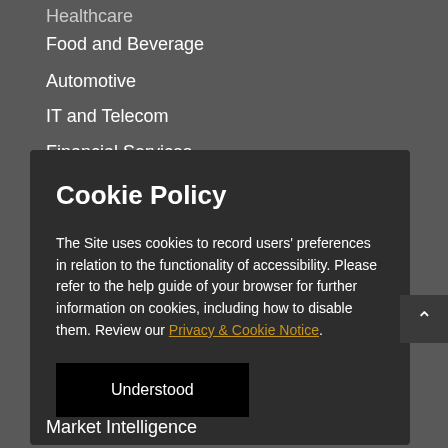Healthcare
Food and Beverage
Automotive
IT and Telecom
Financial Services
Chemicals
Cookie Policy
The Site uses cookies to record users' preferences in relation to the functionality of accessibility. Please refer to the help guide of your browser for further information on cookies, including how to disable them. Review our Privacy & Cookie Notice.
Understood
Market Intelligence